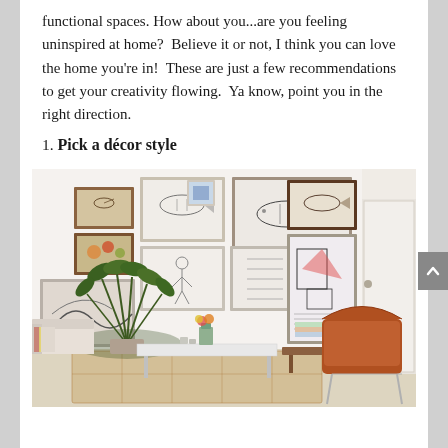functional spaces. How about you...are you feeling uninspired at home?  Believe it or not, I think you can love the home you're in!  These are just a few recommendations to get your creativity flowing.  Ya know, point you in the right direction.
1. Pick a décor style
[Figure (photo): Interior living room photo showing a gallery wall with multiple framed artworks in various sizes, a large indoor plant, a white coffee table with flowers in a vase, a sofa with a striped pillow, a mid-century modern leather chair, and a patterned rug on a light wood floor.]